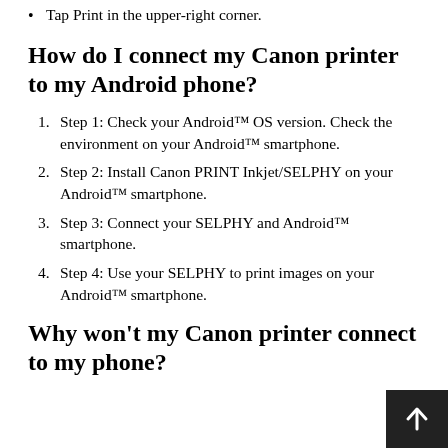Tap Print in the upper-right corner.
How do I connect my Canon printer to my Android phone?
Step 1: Check your Android™ OS version. Check the environment on your Android™ smartphone.
Step 2: Install Canon PRINT Inkjet/SELPHY on your Android™ smartphone.
Step 3: Connect your SELPHY and Android™ smartphone.
Step 4: Use your SELPHY to print images on your Android™ smartphone.
Why won't my Canon printer connect to my phone?